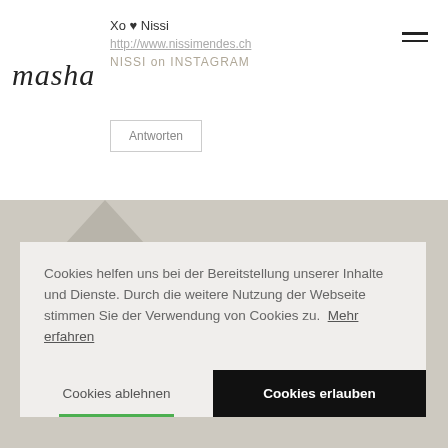Xo ♥ Nissi
http://www.nissimendes.ch
NISSI on INSTAGRAM
Antworten
[Figure (map): Gray map background with geometric shapes]
Cookies helfen uns bei der Bereitstellung unserer Inhalte und Dienste. Durch die weitere Nutzung der Webseite stimmen Sie der Verwendung von Cookies zu.  Mehr erfahren
Cookies ablehnen
Cookies erlauben